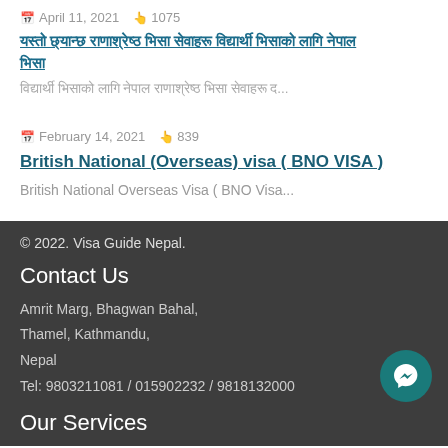April 11, 2021  1075
(Nepali script title - article heading)
(Nepali script excerpt)
February 14, 2021  839
British National (Overseas) visa ( BNO VISA )
British National Overseas Visa ( BNO Visa...
© 2022. Visa Guide Nepal.
Contact Us
Amrit Marg, Bhagwan Bahal, Thamel, Kathmandu, Nepal
Tel: 9803211081 / 015902232 / 9818132000
Our Services